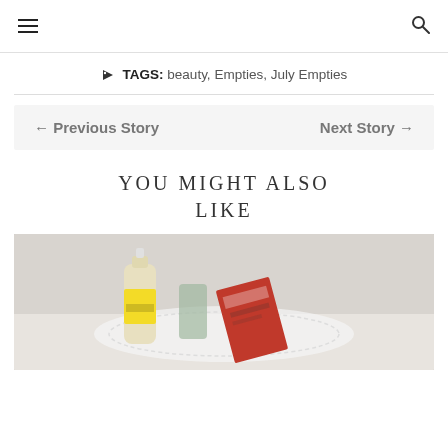≡  🔍
TAGS: beauty, Empties, July Empties
← Previous Story    Next Story →
YOU MIGHT ALSO LIKE
[Figure (photo): Photo of beauty/health product empties including a bottle and a red box on a doily]